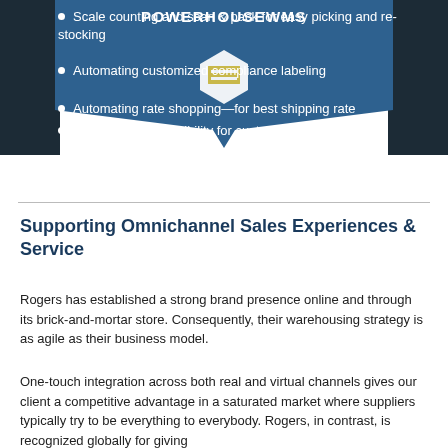[Figure (logo): PowerHouseWMS logo with hexagon icon on a dark blue banner background]
Scale counting and scan & pack for easy picking and re-stocking
Automating customized compliance labeling
Automating rate shopping—for best shipping rate
Order tracking—visibility for customer, too
Supporting Omnichannel Sales Experiences & Service
Rogers has established a strong brand presence online and through its brick-and-mortar store. Consequently, their warehousing strategy is as agile as their business model.
One-touch integration across both real and virtual channels gives our client a competitive advantage in a saturated market where suppliers typically try to be everything to everybody. Rogers, in contrast, is recognized globally for giving